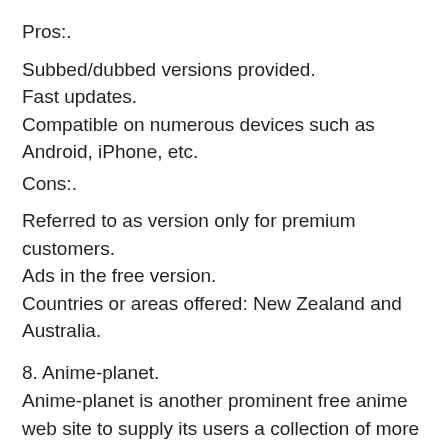Pros:.
Subbed/dubbed versions provided.
Fast updates.
Compatible on numerous devices such as Android, iPhone, etc.
Cons:.
Referred to as version only for premium customers.
Ads in the free version.
Countries or areas offered: New Zealand and Australia.
8. Anime-planet.
Anime-planet is another prominent free anime web site to supply its users a collection of more than 45000 episodes. It immerses you on the planet of comedy, scary, experience, and so on, totally free. The individuals can access all kinds of manga as well as anime data sources, examines on various